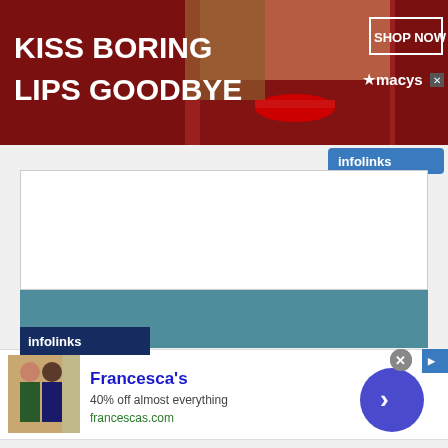[Figure (screenshot): Macy's advertisement banner: dark red background with white bold text 'KISS BORING LIPS GOODBYE', center image of a woman's face with red lips, right side has 'SHOP NOW' button in white border and Macy's star logo with 'macys' text]
[Figure (screenshot): Infolinks badge in blue on top right corner]
[Figure (screenshot): White content area below the Macy's ad]
[Figure (screenshot): Teal/steel blue banner section with Infolinks badge at bottom left]
[Figure (screenshot): Francesca's advertisement: image of women, store name 'Francesca's', text '40% off almost everything', URL 'francescas.com', blue circular arrow button, X close button, ad badge]